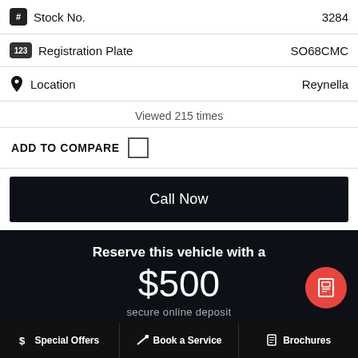Stock No.  3284
Registration Plate  SO68CMC
Location  Reynella
Viewed 215 times
ADD TO COMPARE
Call Now
Reserve this vehicle with a $500 secure online deposit
PayPal
$ Special Offers   Book a Service   Brochures